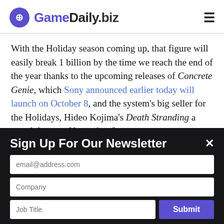GameDaily.biz
With the Holiday season coming up, that figure will easily break 1 billion by the time we reach the end of the year thanks to the upcoming releases of Concrete Genie, which Sony announced earlier today will launch on October 8, and the system's big seller for the Holidays, Hideo Kojima's Death Stranding a month later on November 8.
Sign Up For Our Newsletter
email@address.com
Company
Job Title
Submit
million. An increase quarter over quarter of 200,000 ... jump of 2.3 million
for FY20xx for the Game and Network Services division...